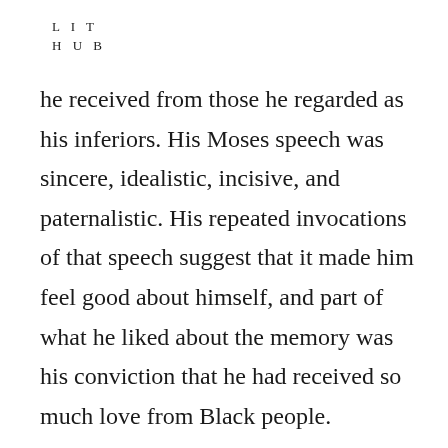L I T
H U B
he received from those he regarded as his inferiors. His Moses speech was sincere, idealistic, incisive, and paternalistic. His repeated invocations of that speech suggest that it made him feel good about himself, and part of what he liked about the memory was his conviction that he had received so much love from Black people.
The situation was different in Washington, DC, where African Americans pressed their claims for the full rights of citizenship. In February 1865, when Johnson was vice president, Henry